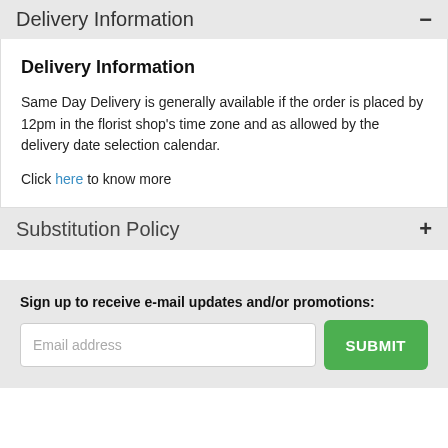Delivery Information
Delivery Information
Same Day Delivery is generally available if the order is placed by 12pm in the florist shop's time zone and as allowed by the delivery date selection calendar.
Click here to know more
Substitution Policy
Sign up to receive e-mail updates and/or promotions: